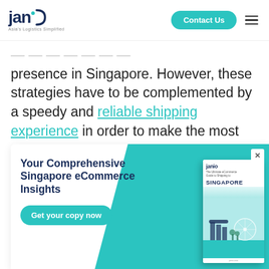janio — Asia's Logistics Simplified | Contact Us
presence in Singapore. However, these strategies have to be complemented by a speedy and reliable shipping experience in order to make the most out of your eCommerce experience for your customers.
[Figure (infographic): Janio promotional banner for 'Your Comprehensive Singapore eCommerce Insights' ebook with teal background, book cover image showing Singapore skyline, and 'Get your copy now' button]